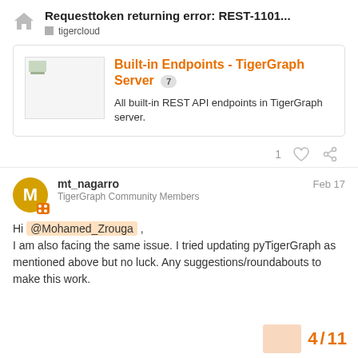Requesttoken returning error: REST-1101...
tigercloud
[Figure (screenshot): Link card preview for 'Built-in Endpoints - TigerGraph Server' with badge showing 7, and description: All built-in REST API endpoints in TigerGraph server.]
1
mt_nagarro
TigerGraph Community Members
Feb 17
Hi @Mohamed_Zrouga , I am also facing the same issue. I tried updating pyTigerGraph as mentioned above but no luck. Any suggestions/roundabouts to make this work.
4 / 11